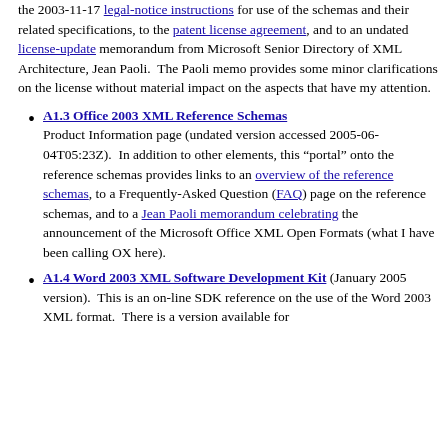the 2003-11-17 legal-notice instructions for use of the schemas and their related specifications, to the patent license agreement, and to an undated license-update memorandum from Microsoft Senior Directory of XML Architecture, Jean Paoli. The Paoli memo provides some minor clarifications on the license without material impact on the aspects that have my attention.
A1.3 Office 2003 XML Reference Schemas Product Information page (undated version accessed 2005-06-04T05:23Z). In addition to other elements, this “portal” onto the reference schemas provides links to an overview of the reference schemas, to a Frequently-Asked Question (FAQ) page on the reference schemas, and to a Jean Paoli memorandum celebrating the announcement of the Microsoft Office XML Open Formats (what I have been calling OX here).
A1.4 Word 2003 XML Software Development Kit (January 2005 version). This is an on-line SDK reference on the use of the Word 2003 XML format. There is a version available for